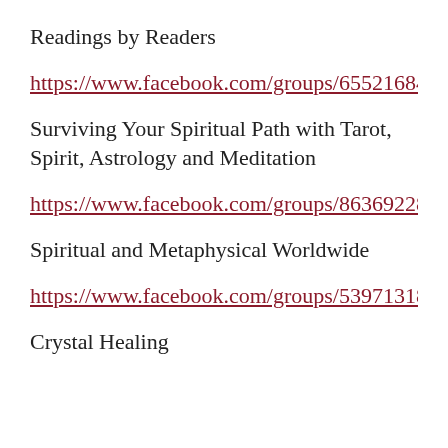Readings by Readers
https://www.facebook.com/groups/65521684
Surviving Your Spiritual Path with Tarot, Spirit, Astrology and Meditation
https://www.facebook.com/groups/86369228
Spiritual and Metaphysical Worldwide
https://www.facebook.com/groups/53971318
Crystal Healing